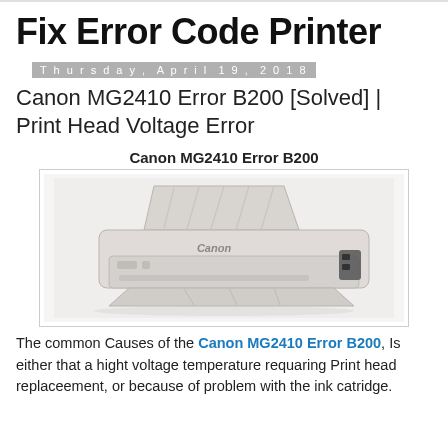Fix Error Code Printer
Thursday, April 19, 2018
Canon MG2410 Error B200 [Solved] | Print Head Voltage Error
Canon MG2410 Error B200
[Figure (photo): Canon MG2410 printer, white color, shown at angle with paper tray open]
The common Causes of the Canon MG2410 Error B200, Is either that a hight voltage temperature requaring Print head replaceement, or because of problem with the ink catridge.